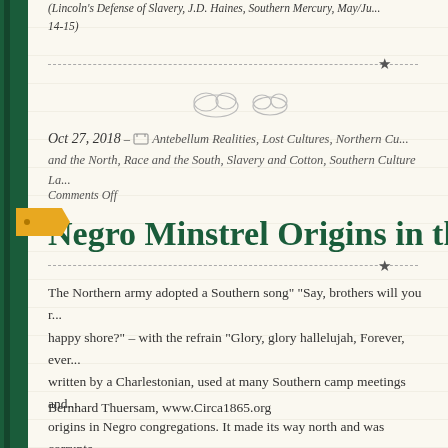(Lincoln's Defense of Slavery, J.D. Haines, Southern Mercury, May/Ju... 14-15)
Oct 27, 2018 – Antebellum Realities, Lost Cultures, Northern Cu... and the North, Race and the South, Slavery and Cotton, Southern Culture La...
Comments Off
Negro Minstrel Origins in th...
The Northern army adopted a Southern song" "Say, brothers will you r... happy shore?" – with the refrain "Glory, glory hallelujah, Forever, ever... written by a Charlestonian, used at many Southern camp meetings and... origins in Negro congregations. It made its way north and was corrupte... Brown's Body."
Bernhard Thuersam, www.Circa1865.org